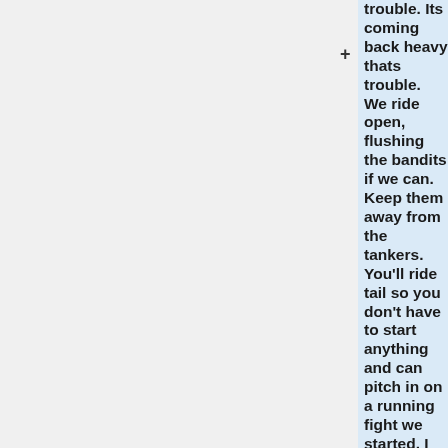trouble. Its coming back heavy thats trouble. We ride open, flushing the bandits if we can. Keep them away from the tankers. You'll ride tail so you don't have to start anything and can pitch in on a running fight we started. I don't know about Slugger on the run but i get not wanting to be seperated. The sidecar is armored. Have